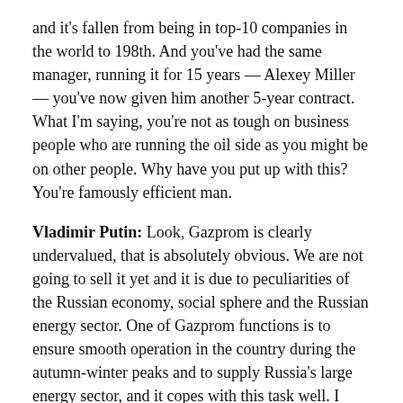and it's fallen from being in top-10 companies in the world to 198th. And you've had the same manager, running it for 15 years — Alexey Miller — you've now given him another 5-year contract. What I'm saying, you're not as tough on business people who are running the oil side as you might be on other people. Why have you put up with this? You're famously efficient man.
Vladimir Putin: Look, Gazprom is clearly undervalued, that is absolutely obvious. We are not going to sell it yet and it is due to peculiarities of the Russian economy, social sphere and the Russian energy sector. One of Gazprom functions is to ensure smooth operation in the country during the autumn-winter peaks and to supply Russia's large energy sector, and it copes with this task well. I think Gazprom's valuations today are quite speculative and we have absolutely no worries and cares about that.
We know what Gazprom is, what it is worth and what it will be